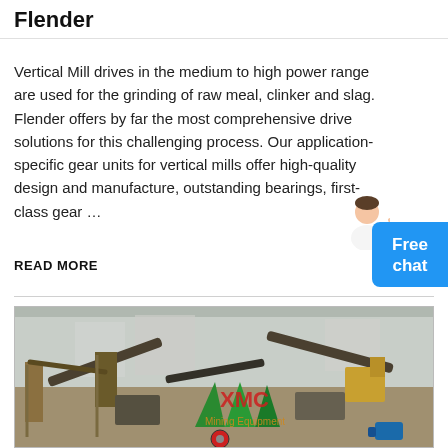Flender
Vertical Mill drives in the medium to high power range are used for the grinding of raw meal, clinker and slag. Flender offers by far the most comprehensive drive solutions for this challenging process. Our application-specific gear units for vertical mills offer high-quality design and manufacture, outstanding bearings, first-class gear ...
READ MORE
[Figure (photo): Industrial mining/crushing equipment yard showing conveyor belts, cone crushers, and heavy machinery with XMC Mining Equipment branding visible in red and green.]